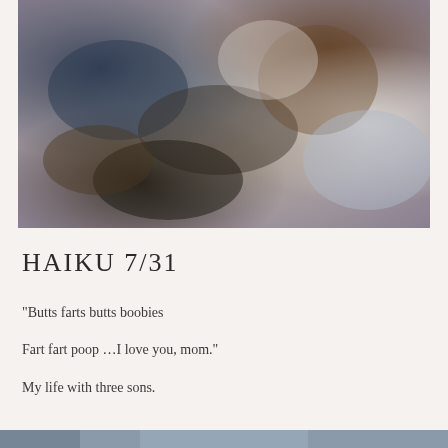[Figure (photo): Overhead view of a family — a mother with dreadlocks and two or three young boys — lying on a white bed, laughing and playing together.]
HAIKU 7/31
"Butts farts butts boobies
Fart fart poop …I love you, mom."
My life with three sons.
[Figure (photo): Partial bottom strip showing another photo — appears to be another family scene.]